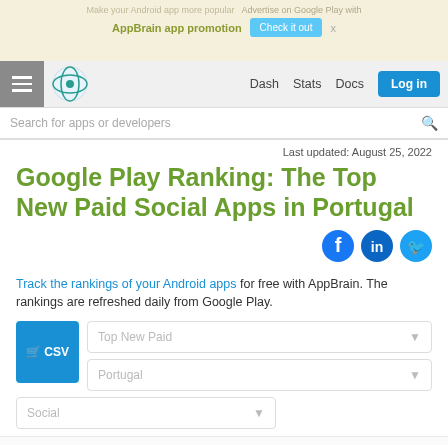Make your Android app more popular · Advertise on Google Play with AppBrain app promotion · Check it out · x
≡ [logo] Dash  Stats  Docs  Log in
Search for apps or developers
Last updated: August 25, 2022
Google Play Ranking: The Top New Paid Social Apps in Portugal
Track the rankings of your Android apps for free with AppBrain. The rankings are refreshed daily from Google Play.
CSV  Top New Paid ▼  Portugal ▼  Social ▼